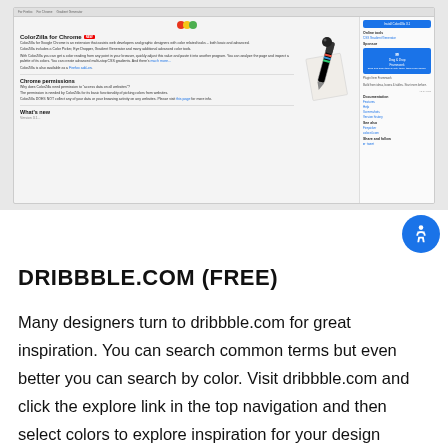[Figure (screenshot): Screenshot of the ColorZilla for Chrome browser extension web page, showing the extension description, Chrome permissions section, What's new section, and a sidebar with install button, online tools, sponsor box, documentation links, see also links, and share/follow options.]
DRIBBBLE.COM (FREE)
Many designers turn to dribbble.com for great inspiration. You can search common terms but even better you can search by color. Visit dribbble.com and click the explore link in the top navigation and then select colors to explore inspiration for your design based...